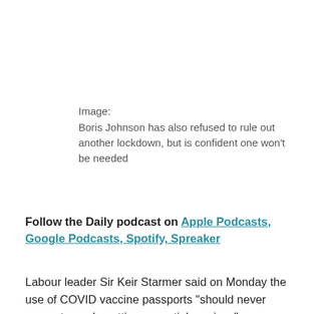Image:
Boris Johnson has also refused to rule out another lockdown, but is confident one won't be needed
Follow the Daily podcast on Apple Podcasts, Google Podcasts, Spotify, Spreaker
Labour leader Sir Keir Starmer said on Monday the use of COVID vaccine passports “should never prevent people getting essential services”.
He added they could “possibly” be used for “some events” but should be used “in conjunction with tests”, so that